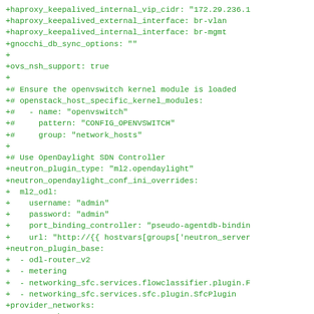+haproxy_keepalived_internal_vip_cidr: "172.29.236.1
+haproxy_keepalived_external_interface: br-vlan
+haproxy_keepalived_internal_interface: br-mgmt
+gnocchi_db_sync_options: ""
+
+ovs_nsh_support: true
+
+# Ensure the openvswitch kernel module is loaded
+# openstack_host_specific_kernel_modules:
+#   - name: "openvswitch"
+#     pattern: "CONFIG_OPENVSWITCH"
+#     group: "network_hosts"
+
+# Use OpenDaylight SDN Controller
+neutron_plugin_type: "ml2.opendaylight"
+neutron_opendaylight_conf_ini_overrides:
+  ml2_odl:
+    username: "admin"
+    password: "admin"
+    port_binding_controller: "pseudo-agentdb-bindin
+    url: "http://{{ hostvars[groups['neutron_server
+neutron_plugin_base:
+  - odl-router_v2
+  - metering
+  - networking_sfc.services.flowclassifier.plugin.F
+  - networking_sfc.services.sfc.plugin.SfcPlugin
+provider_networks:
+  - network:
+    container_bridge: "br-mgmt"
+    container_type: "veth"